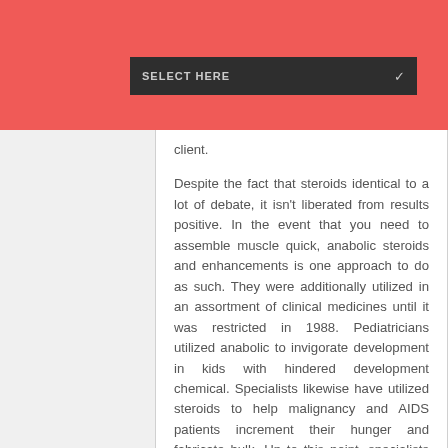SELECT HERE
client.
Despite the fact that steroids identical to a lot of debate, it isn't liberated from results positive. In the event that you need to assemble muscle quick, anabolic steroids and enhancements is one approach to do as such. They were additionally utilized in an assortment of clinical medicines until it was restricted in 1988. Pediatricians utilized anabolic to invigorate development in kids with hindered development chemical. Specialists likewise have utilized steroids to help malignancy and AIDS patients increment their hunger and fabricate bulk. Up to this point, specialists additionally